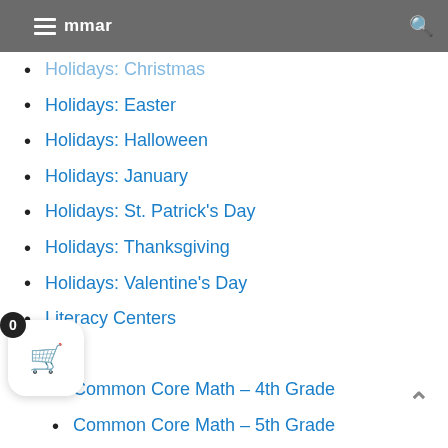Grammar
Holidays: Christmas
Holidays: Easter
Holidays: Halloween
Holidays: January
Holidays: St. Patrick's Day
Holidays: Thanksgiving
Holidays: Valentine's Day
Literacy Centers
Math
Common Core Math – 4th Grade
Common Core Math – 5th Grade
Math Homework – 3rd Grade